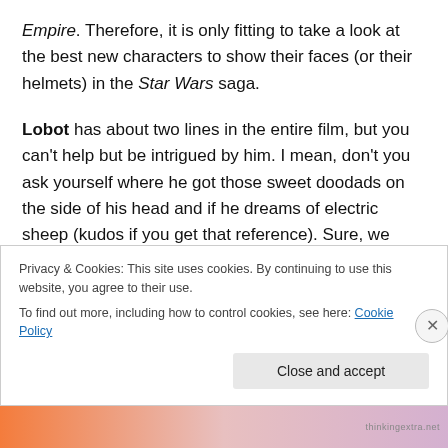Empire. Therefore, it is only fitting to take a look at the best new characters to show their faces (or their helmets) in the Star Wars saga.

Lobot has about two lines in the entire film, but you can't help but be intrigued by him. I mean, don't you ask yourself where he got those sweet doodads on the side of his head and if he dreams of electric sheep (kudos if you get that reference). Sure, we know that Lobot is Lando's chief dude at Cloud City and he's pretty handy with a blaster, but there is so much mystery about the rest of his
Privacy & Cookies: This site uses cookies. By continuing to use this website, you agree to their use.
To find out more, including how to control cookies, see here: Cookie Policy